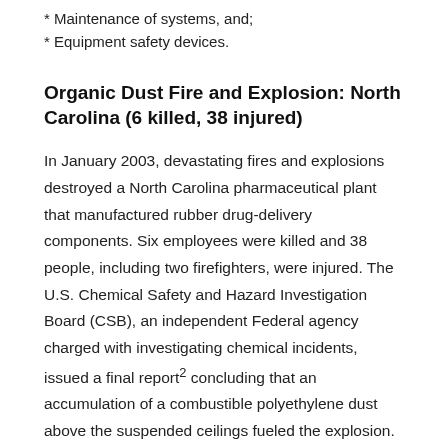* Maintenance of systems, and;
* Equipment safety devices.
Organic Dust Fire and Explosion: North Carolina (6 killed, 38 injured)
In January 2003, devastating fires and explosions destroyed a North Carolina pharmaceutical plant that manufactured rubber drug-delivery components. Six employees were killed and 38 people, including two firefighters, were injured. The U.S. Chemical Safety and Hazard Investigation Board (CSB), an independent Federal agency charged with investigating chemical incidents, issued a final report2 concluding that an accumulation of a combustible polyethylene dust above the suspended ceilings fueled the explosion. The CSB was unable to determine what ignited the initial fire or how the dust was dispersed to create the explosive cloud in the hidden ceiling space. The